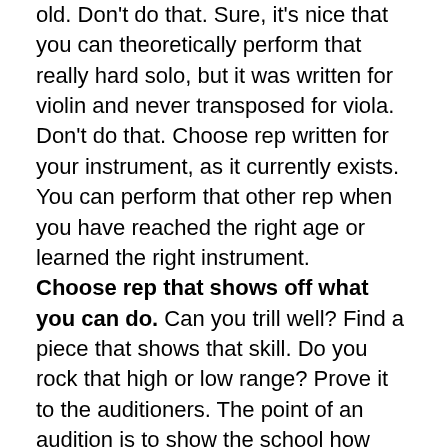old. Don't do that. Sure, it's nice that you can theoretically perform that really hard solo, but it was written for violin and never transposed for viola. Don't do that. Choose rep written for your instrument, as it currently exists. You can perform that other rep when you have reached the right age or learned the right instrument. Choose rep that shows off what you can do. Can you trill well? Find a piece that shows that skill. Do you rock that high or low range? Prove it to the auditioners. The point of an audition is to show the school how awesome you are. Your rep should help you with that. Research your pieces. I mean everything about your pieces. Know